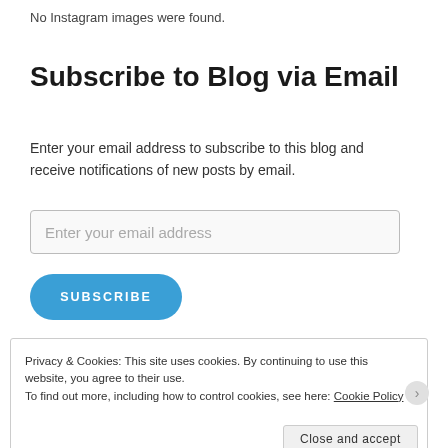No Instagram images were found.
Subscribe to Blog via Email
Enter your email address to subscribe to this blog and receive notifications of new posts by email.
Enter your email address
SUBSCRIBE
Privacy & Cookies: This site uses cookies. By continuing to use this website, you agree to their use.
To find out more, including how to control cookies, see here: Cookie Policy
Close and accept